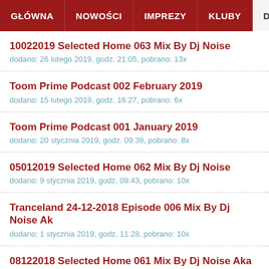GŁÓWNA | NOWOŚCI | IMPREZY | KLUBY | DJE
10022019 Selected Home 063 Mix By Dj Noise
dodano: 26 lutego 2019, godz. 21:05, pobrano: 13x
Toom Prime Podcast 002 February 2019
dodano: 15 lutego 2019, godz. 16:27, pobrano: 6x
Toom Prime Podcast 001 January 2019
dodano: 20 stycznia 2019, godz. 09:39, pobrano: 8x
05012019 Selected Home 062 Mix By Dj Noise
dodano: 9 stycznia 2019, godz. 09:43, pobrano: 10x
Tranceland 24-12-2018 Episode 006 Mix By Dj Noise Ak
dodano: 1 stycznia 2019, godz. 11:28, pobrano: 10x
08122018 Selected Home 061 Mix By Dj Noise Aka Too
dodano: 23 grudnia 2018, godz. 02:23, pobrano: 12x